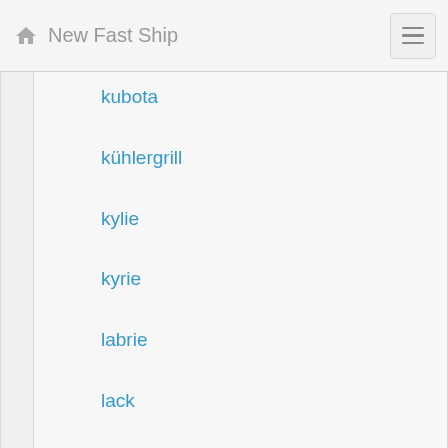New Fast Ship
kubota
kühlergrill
kylie
kyrie
labrie
lack
land
laptop
large